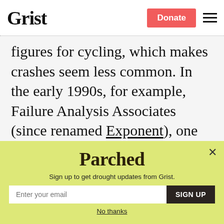Grist | Donate
figures for cycling, which makes crashes seem less common. In the early 1990s, for example, Failure Analysis Associates (since renamed Exponent), one of the world's leading engineering firms in the specialty field of quantifying risk exposure and preventing mechanical failure, estimated
[Figure (screenshot): Parchea newsletter signup popup modal with yellow-green background. Contains 'Parched' title, subtitle 'Sign up to get drought updates from Grist.', email input field, SIGN UP button, and 'No thanks' link. Has a close (X) button in top right.]